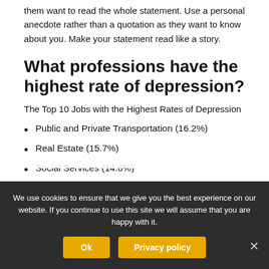them want to read the whole statement. Use a personal anecdote rather than a quotation as they want to know about you. Make your statement read like a story.
What professions have the highest rate of depression?
The Top 10 Jobs with the Highest Rates of Depression
Public and Private Transportation (16.2%)
Real Estate (15.7%)
Social Services (14.6%)
Manufacturing or Production (14.3%)
We use cookies to ensure that we give you the best experience on our website. If you continue to use this site we will assume that you are happy with it.